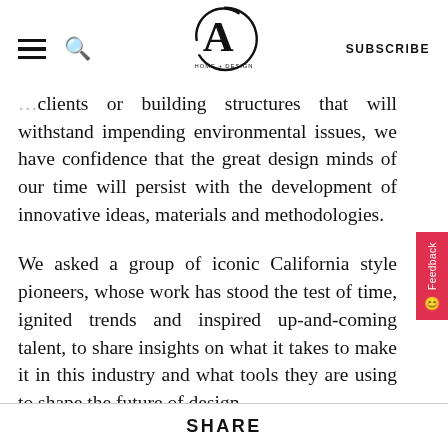CA HOME + DESIGN | SUBSCRIBE
clients or building structures that will withstand impending environmental issues, we have confidence that the great design minds of our time will persist with the development of innovative ideas, materials and methodologies.

We asked a group of iconic California style pioneers, whose work has stood the test of time, ignited trends and inspired up-and-coming talent, to share insights on what it takes to make it in this industry and what tools they are using to shape the future of design.
SHARE